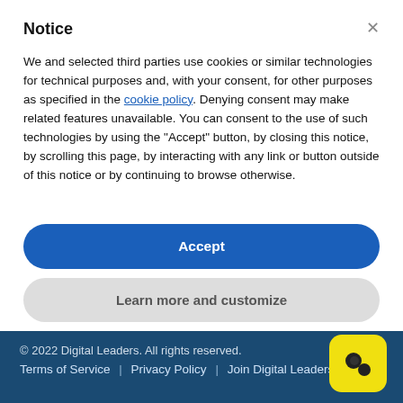Notice
We and selected third parties use cookies or similar technologies for technical purposes and, with your consent, for other purposes as specified in the cookie policy. Denying consent may make related features unavailable. You can consent to the use of such technologies by using the "Accept" button, by closing this notice, by scrolling this page, by interacting with any link or button outside of this notice or by continuing to browse otherwise.
Accept
Learn more and customize
© 2022 Digital Leaders. All rights reserved. Terms of Service | Privacy Policy | Join Digital Leaders